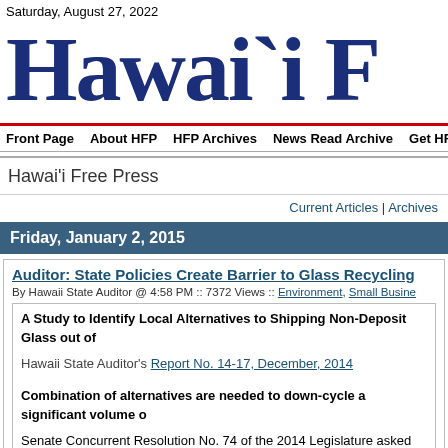Saturday, August 27, 2022
Hawai`i F…
Front Page  About HFP  HFP Archives  News Read Archive  Get HFP by
Hawai'i Free Press
Current Articles | Archives
Friday, January 2, 2015
Auditor: State Policies Create Barrier to Glass Recycling
By Hawaii State Auditor @ 4:58 PM :: 7372 Views :: Environment, Small Busine…
A Study to Identify Local Alternatives to Shipping Non-Deposit Glass out of…
Hawaii State Auditor's Report No. 14-17, December, 2014
Combination of alternatives are needed to down-cycle a significant volume o…
Senate Concurrent Resolution No. 74 of the 2014 Legislature asked the Auditor non-deposit glass containers out of the State for recycling. We contracted with C…